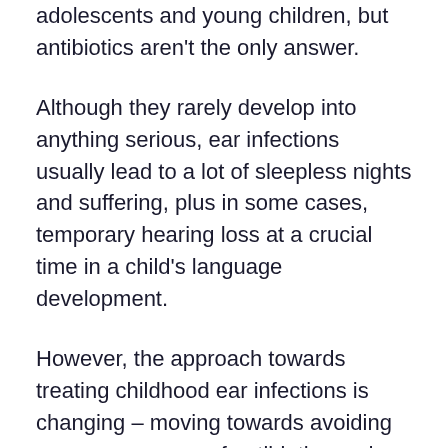adolescents and young children, but antibiotics aren't the only answer.
Although they rarely develop into anything serious, ear infections usually lead to a lot of sleepless nights and suffering, plus in some cases, temporary hearing loss at a crucial time in a child's language development.
However, the approach towards treating childhood ear infections is changing – moving towards avoiding unnecessary use of antibiotics and surgery.
Based on growing concern about overuse of antibiotics, the American Pediatric Association issued guidelines recommending an